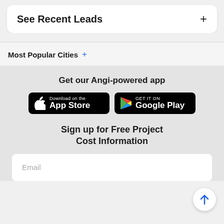See Recent Leads +
Most Popular Cities +
Get our Angi-powered app
[Figure (other): App Store and Google Play store download buttons]
Sign up for Free Project Cost Information
Email